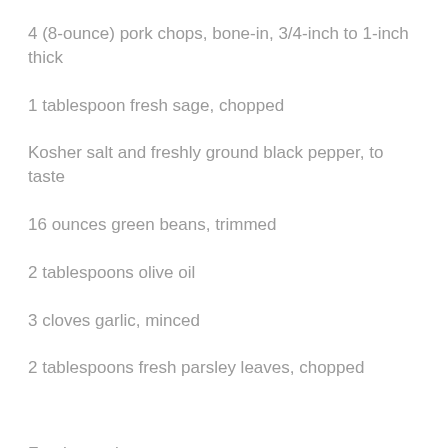4 (8-ounce) pork chops, bone-in, 3/4-inch to 1-inch thick
1 tablespoon fresh sage, chopped
Kosher salt and freshly ground black pepper, to taste
16 ounces green beans, trimmed
2 tablespoons olive oil
3 cloves garlic, minced
2 tablespoons fresh parsley leaves, chopped
For the apples: